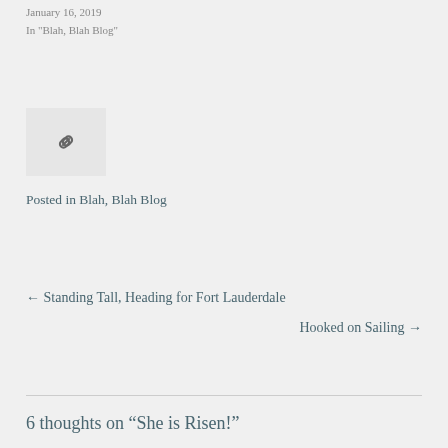January 16, 2019
In "Blah, Blah Blog"
[Figure (illustration): Chain link icon inside a light grey box]
Posted in Blah, Blah Blog
← Standing Tall, Heading for Fort Lauderdale
Hooked on Sailing →
6 thoughts on "She is Risen!"